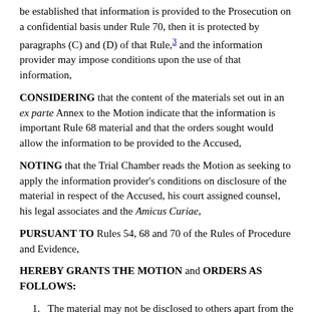be established that information is provided to the Prosecution on a confidential basis under Rule 70, then it is protected by paragraphs (C) and (D) of that Rule,3 and the information provider may impose conditions upon the use of that information,
CONSIDERING that the content of the materials set out in an ex parte Annex to the Motion indicate that the information is important Rule 68 material and that the orders sought would allow the information to be provided to the Accused,
NOTING that the Trial Chamber reads the Motion as seeking to apply the information provider's conditions on disclosure of the material in respect of the Accused, his court assigned counsel, his legal associates and the Amicus Curiae,
PURSUANT TO Rules 54, 68 and 70 of the Rules of Procedure and Evidence,
HEREBY GRANTS THE MOTION and ORDERS AS FOLLOWS:
1. The material may not be disclosed to others apart from the Accused, his court assigned counsel, his legal associates and the Amicus Curiae, without the prior approval of the information provider; and